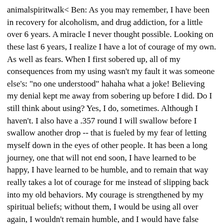animalspiritwalk< Ben: As you may remember, I have been in recovery for alcoholism, and drug addiction, for a little over 6 years. A miracle I never thought possible. Looking on these last 6 years, I realize I have a lot of courage of my own. As well as fears. When I first sobered up, all of my consequences from my using wasn't my fault it was someone else's: "no one understood" hahaha what a joke! Believing my denial kept me away from sobering up before I did. Do I still think about using? Yes, I do, sometimes. Although I haven't. I also have a .357 round I will swallow before I swallow another drop -- that is fueled by my fear of letting myself down in the eyes of other people. It has been a long journey, one that will not end soon, I have learned to be happy, I have learned to be humble, and to remain that way really takes a lot of courage for me instead of slipping back into my old behaviors. My courage is strengthened by my spiritual beliefs; without them, I would be using all over again, I wouldn't remain humble, and I would have false pride replacing true pride that I now have. So when you said we can still drum up our own courage, I personally disagree with you on that. For me to try to take my power back would mean I would swallow that damn bullet, which I do not want to do. This doesn't mean however, that I don't speak up for myself, but I am aware of my decisions or choices I make, and pray that my higher power has the same intentions in mind for me. If not, I have an open mind to learn whatever lesson there is to learn, even though